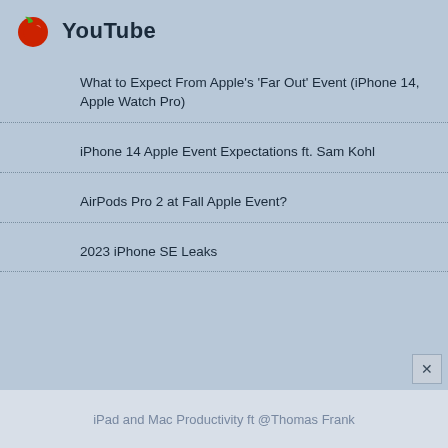YouTube
What to Expect From Apple's 'Far Out' Event (iPhone 14, Apple Watch Pro)
iPhone 14 Apple Event Expectations ft. Sam Kohl
AirPods Pro 2 at Fall Apple Event?
2023 iPhone SE Leaks
iPad and Mac Productivity ft @Thomas Frank